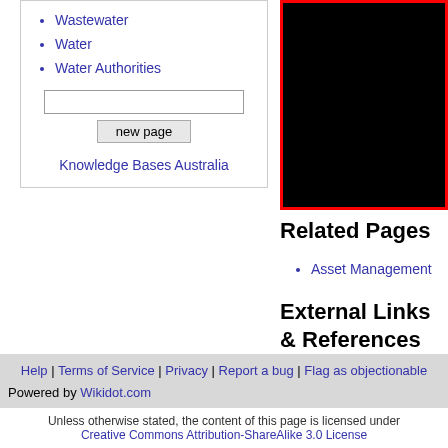Wastewater
Water
Water Authorities
[Figure (screenshot): Text input field and 'new page' button inside a bordered box]
Knowledge Bases Australia
[Figure (photo): Black image with red border on right side]
Related Pages
Asset Management
External Links & References
1. Google Search
am
Help | Terms of Service | Privacy | Report a bug | Flag as objectionable
Powered by Wikidot.com
Unless otherwise stated, the content of this page is licensed under Creative Commons Attribution-ShareAlike 3.0 License